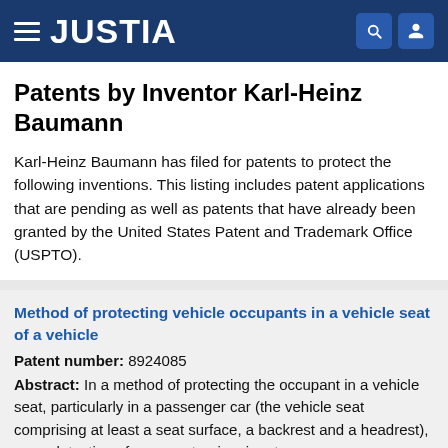JUSTIA
Patents by Inventor Karl-Heinz Baumann
Karl-Heinz Baumann has filed for patents to protect the following inventions. This listing includes patent applications that are pending as well as patents that have already been granted by the United States Patent and Trademark Office (USPTO).
Method of protecting vehicle occupants in a vehicle seat of a vehicle
Patent number: 8924085
Abstract: In a method of protecting the occupant in a vehicle seat, particularly in a passenger car (the vehicle seat comprising at least a seat surface, a backrest and a headrest), upon detection of a present or imminent rear impact, movement of the head...